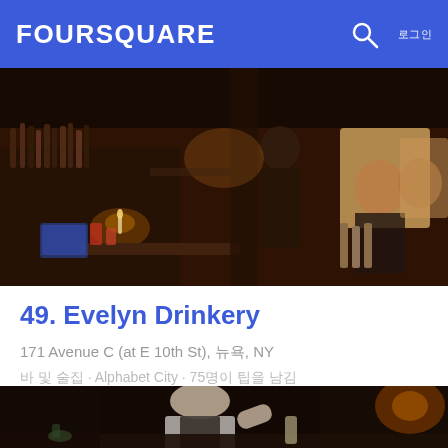FOURSQUARE
[Figure (photo): Interior of Evelyn Drinkery bar showing patrons sitting at tables with warm amber lighting, brick walls, candles and bottles behind the bar]
49. Evelyn Drinkery
171 Avenue C (at E 10th St), 뉴욕, NY
바 및 술집 · Alphabet City · 75명이 팁을 남김
[Figure (photo): Bartender working behind bar, mixing drinks, with warm low lighting and bar equipment visible]